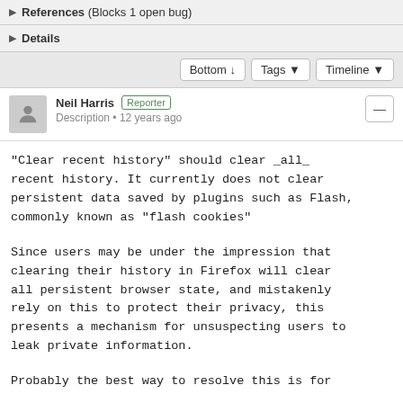References (Blocks 1 open bug)
Details
Bottom ↓   Tags ▼   Timeline ▼
Neil Harris  Reporter
Description • 12 years ago
"Clear recent history" should clear _all_ recent history. It currently does not clear persistent data saved by plugins such as Flash, commonly known as "flash cookies"

Since users may be under the impression that clearing their history in Firefox will clear all persistent browser state, and mistakenly rely on this to protect their privacy, this presents a mechanism for unsuspecting users to leak private information.

Probably the best way to resolve this is for